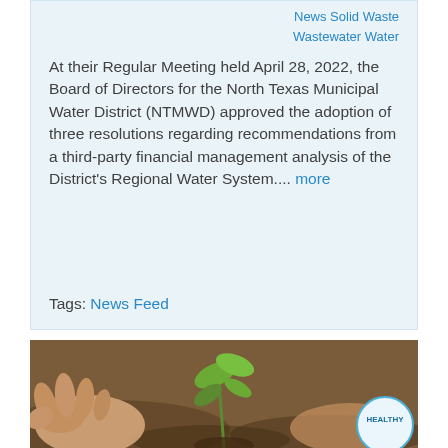News Solid Waste Wastewater Water
At their Regular Meeting held April 28, 2022, the Board of Directors for the North Texas Municipal Water District (NTMWD) approved the adoption of three resolutions regarding recommendations from a third-party financial management analysis of the District's Regional Water System.... more
Tags: News Feed
[Figure (photo): Hands planting or holding a small green seedling in dark soil, with a circular badge in the bottom right reading 'HEALTHY']